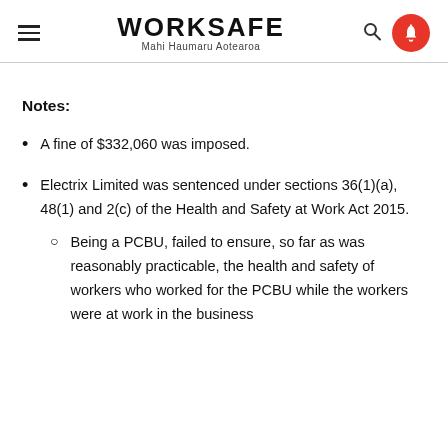WORKSAFE Mahi Haumaru Aotearoa
Notes:
A fine of $332,060 was imposed.
Electrix Limited was sentenced under sections 36(1)(a), 48(1) and 2(c) of the Health and Safety at Work Act 2015.
Being a PCBU, failed to ensure, so far as was reasonably practicable, the health and safety of workers who worked for the PCBU while the workers were at work in the business